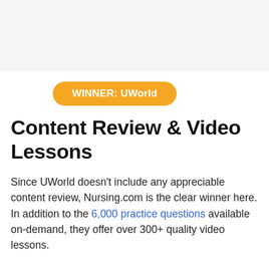[Figure (other): Gray banner/image placeholder at top of page]
WINNER: UWorld
Content Review & Video Lessons
Since UWorld doesn't include any appreciable content review, Nursing.com is the clear winner here. In addition to the 6,000 practice questions available on-demand, they offer over 300+ quality video lessons.